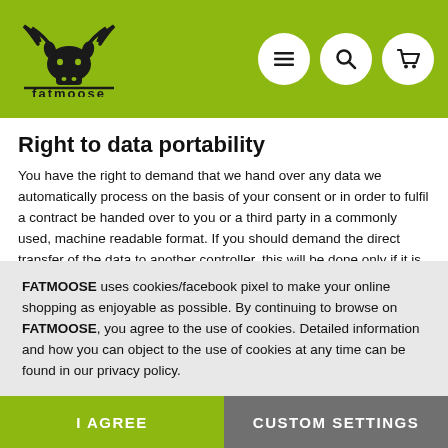[Figure (logo): FATMOOSE brand logo — moose head silhouette above the text 'fatmoose' on a lime-green header background]
Right to data portability
You have the right to demand that we hand over any data we automatically process on the basis of your consent or in order to fulfil a contract be handed over to you or a third party in a commonly used, machine readable format. If you should demand the direct transfer of the data to another controller, this will be done only if it is technically feasible.
SSL and/or TLS encryption
For security reasons and to protect the transmission of confidential content, such as purchase orders or inquiries you submit to us as the website operator, this website uses either an SSL or a TLS encryption program. You can recognize an encrypted connection by checking whether the address line of
FATMOOSE uses cookies/facebook pixel to make your online shopping as enjoyable as possible. By continuing to browse on FATMOOSE, you agree to the use of cookies. Detailed information and how you can object to the use of cookies at any time can be found in our privacy policy.
I AGREE
CUSTOM SETTINGS